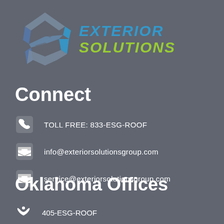[Figure (logo): Exterior Solutions Group logo with geometric S shape in silver/blue and text EXTERIOR SOLUTIONS in blue and lime green italic bold]
Connect
TOLL FREE: 833-ESG-ROOF
info@exteriorsolutionsgroup.com
service@exteriorsolutionsgroup.com
Oklahoma Offices
405-ESG-ROOF
555 Enterprise Drive